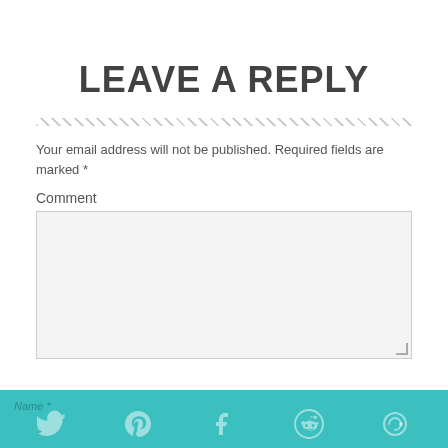LEAVE A REPLY
Your email address will not be published. Required fields are marked *
Comment
[Figure (other): Comment text area input box with light gray background and resize handle]
Name * [Twitter] [Pinterest] [Facebook] [Reddit] [other social icon]